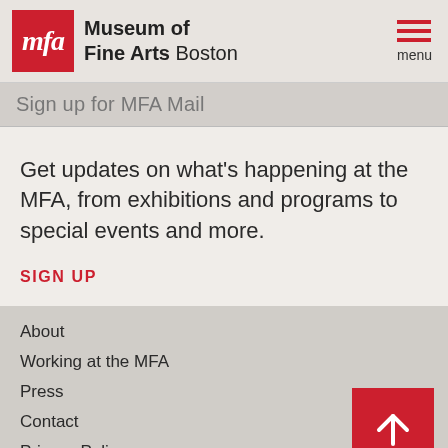Museum of Fine Arts Boston
Sign up for MFA Mail
Get updates on what's happening at the MFA, from exhibitions and programs to special events and more.
SIGN UP
About
Working at the MFA
Press
Contact
Privacy Policy
Terms of Use
Accessibility